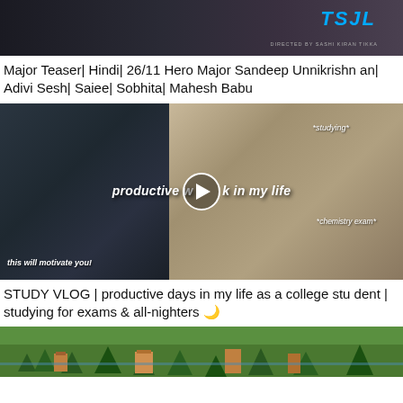[Figure (screenshot): Movie thumbnail for Major - partially visible, dark action movie style with TSJL logo and 'Directed by Sashi Kiran Tikka' text]
Major Teaser| Hindi| 26/11 Hero Major Sandeep Unnikrishnan| Adivi Sesh| Saiee| Sobhita| Mahesh Babu
[Figure (screenshot): Study vlog thumbnail showing a student with glasses and mask on left, and study scene with 'productive week in my life', '*studying*', '*chemistry exam*', 'this will motivate you!' text overlays, with play button in center]
STUDY VLOG | productive days in my life as a college student | studying for exams & all-nighters 🌙
[Figure (screenshot): Game or animated world thumbnail showing aerial view of colorful landscape with buildings and trees]